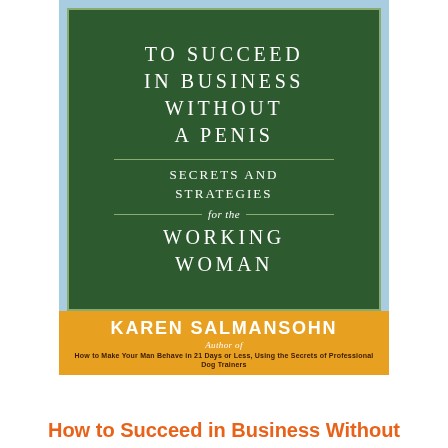[Figure (illustration): Book cover of 'How to Succeed in Business Without a Penis: Secrets and Strategies for the Working Woman' by Karen Salmansohn. Dark green center panel with white spaced serif lettering, surrounded by a light blue border. Orange band at the bottom with the author name 'KAREN SALMANSOHN' in large white bold letters, 'Author of' in white italic script, and a dark subtitle tagline about dog trainers.]
How to Succeed in Business Without